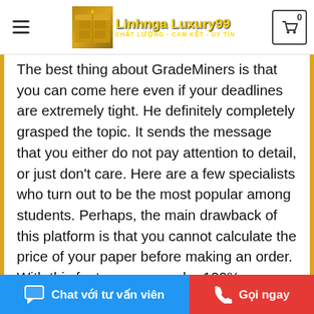Linhnga Luxury99 CHẤT LƯỢNG - CAM KẾT - UY TÍN
The best thing about GradeMiners is that you can come here even if your deadlines are extremely tight. He definitely completely grasped the topic. It sends the message that you either do not pay attention to detail, or just don't care. Here are a few specialists who turn out to be the most popular among students. Perhaps, the main drawback of this platform is that you cannot calculate the price of your paper before making an order. With this feature, you can be 100% sure that you'll get your work back on time. Also, find an editor that has experience in any style guidelines you're using, and find someone you can connect with who will do the best job possible for your dissertation. Not so long ago, writing custom essays
Chat với tư vấn viên | Gọi ngay